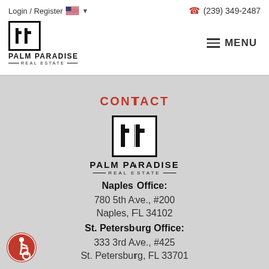Login / Register  (239) 349-2487
[Figure (logo): Palm Paradise Real Estate logo - small version in header]
MENU
CONTACT
[Figure (logo): Palm Paradise Real Estate logo - large centered version]
Naples Office:
780 5th Ave., #200
Naples, FL 34102
St. Petersburg Office:
333 3rd Ave., #425
St. Petersburg, FL 33701
[Figure (illustration): Accessibility icon - wheelchair user in red circle, bottom left]